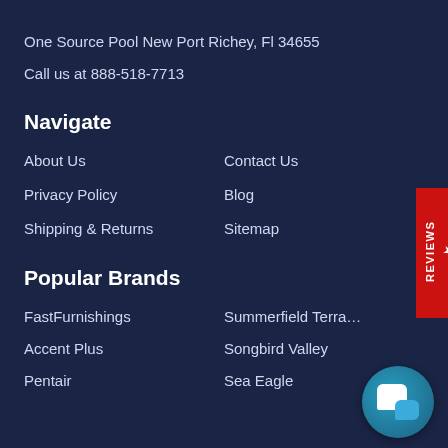One Source Pool New Port Richey, Fl 34655
Call us at 888-518-7713
Navigate
About Us
Contact Us
Privacy Policy
Blog
Shipping & Returns
Sitemap
Popular Brands
FastFurnishings
Summerfield Terra...
Accent Plus
Songbird Valley
Pentair
Sea Eagle